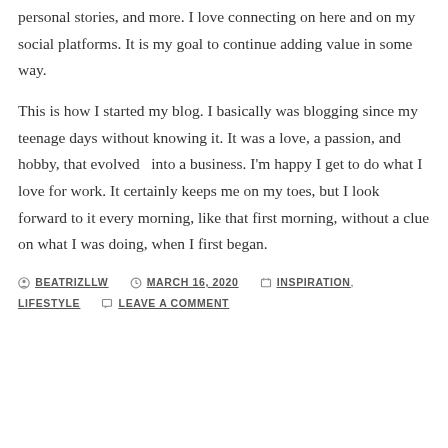personal stories, and more. I love connecting on here and on my social platforms. It is my goal to continue adding value in some way.
This is how I started my blog. I basically was blogging since my teenage days without knowing it. It was a love, a passion, and hobby, that evolved  into a business. I'm happy I get to do what I love for work. It certainly keeps me on my toes, but I look forward to it every morning, like that first morning, without a clue on what I was doing, when I first began.
By BEATRIZLLW  MARCH 16, 2020  INSPIRATION, LIFESTYLE  LEAVE A COMMENT